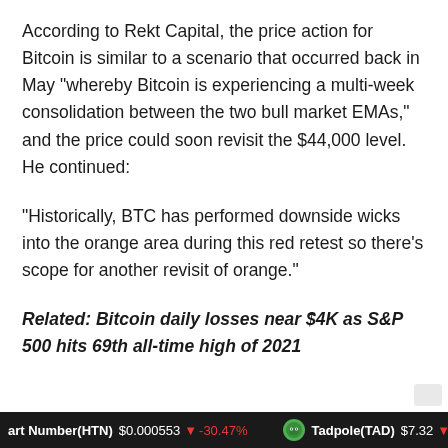According to Rekt Capital, the price action for Bitcoin is similar to a scenario that occurred back in May "whereby Bitcoin is experiencing a multi-week consolidation between the two bull market EMAs," and the price could soon revisit the $44,000 level. He continued:
"Historically, BTC has performed downside wicks into the orange area during this red retest so there’s scope for another revisit of orange."
Related: Bitcoin daily losses near $4K as S&P 500 hits 69th all-time high of 2021
art Number(HTN) $0.000553 ▼ -30.47%    Tadpole(TAD) $7.32 ▼ -1